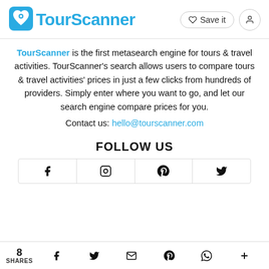[Figure (logo): TourScanner logo with heart-map-pin icon and blue text]
TourScanner is the first metasearch engine for tours & travel activities. TourScanner's search allows users to compare tours & travel activities' prices in just a few clicks from hundreds of providers. Simply enter where you want to go, and let our search engine compare prices for you.
Contact us: hello@tourscanner.com
FOLLOW US
[Figure (infographic): Row of social media icons: Facebook, Instagram, Pinterest, Twitter]
8 SHARES — social share icons: Facebook, Twitter, Email, Pinterest, WhatsApp, More